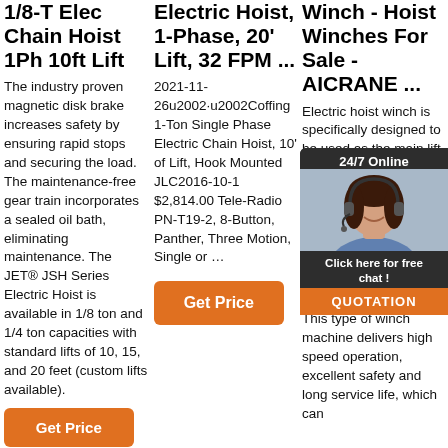1/8-T Elec Chain Hoist 1Ph 10ft Lift
The industry proven magnetic disk brake increases safety by ensuring rapid stops and securing the load. The maintenance-free gear train incorporates a sealed oil bath, eliminating maintenance. The JET® JSH Series Electric Hoist is available in 1/8 ton and 1/4 ton capacities with standard lifts of 10, 15, and 20 feet (custom lifts available).
Electric Hoist, 1-Phase, 20' Lift, 32 FPM ...
2021-11-26u2002·u2002Coffing 1-Ton Single Phase Electric Chain Hoist, 10' of Lift, Hook Mounted JLC2016-10-1 $2,814.00 Tele-Radio PN-T19-2, 8-Button, Panther, Three Motion, Single or …
Winch - Hoist Winches For Sale - AICRANE ...
Electric hoist winch is specifically designed to be used as the main lifting mechanism for various cranes, derricks and hoists to lift heavy objects efficiently and effortlessly. This machine is available in a range of designs and configurations to meet varied needs of clients. This type of winch machine delivers high speed operation, excellent safety and long service life, which can
[Figure (photo): Chat widget overlay with woman wearing headset, '24/7 Online' label, 'Click here for free chat!' text, and 'QUOTATION' orange button]